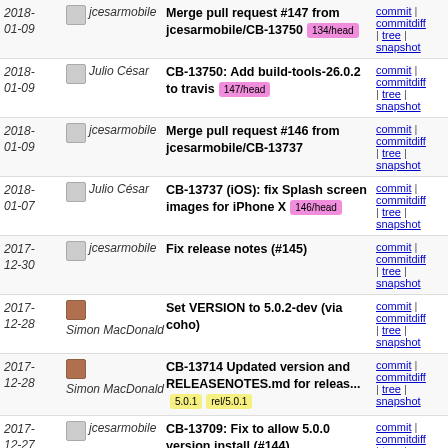| Date | Author | Message | Links |
| --- | --- | --- | --- |
| 2018-01-09 | jcesarmobile | Merge pull request #147 from jcesarmobile/CB-13750 [134/head] | commit | commitdiff | tree | snapshot |
| 2018-01-09 | Julio César | CB-13750: Add build-tools-26.0.2 to travis [147/head] | commit | commitdiff | tree | snapshot |
| 2018-01-09 | jcesarmobile | Merge pull request #146 from jcesarmobile/CB-13737 | commit | commitdiff | tree | snapshot |
| 2018-01-07 | Julio César | CB-13737 (iOS): fix Splash screen images for iPhone X [146/head] | commit | commitdiff | tree | snapshot |
| 2017-12-30 | jcesarmobile | Fix release notes (#145) | commit | commitdiff | tree | snapshot |
| 2017-12-28 | Simon MacDonald | Set VERSION to 5.0.2-dev (via coho) | commit | commitdiff | tree | snapshot |
| 2017-12-28 | Simon MacDonald | CB-13714 Updated version and RELEASENOTES.md for releas... [5.0.1] [rel/5.0.1] | commit | commitdiff | tree | snapshot |
| 2017-12-27 | jcesarmobile | CB-13709: Fix to allow 5.0.0 version install (#144) | commit | commitdiff | tree | snapshot |
| 2017-12-16 | Steve Gill | Set VERSION to 5.0.1-dev (via coho) | commit | commitdiff | tree | snapshot |
| 2017-12-16 | Steve Gill | CB-13681 Updated version and RELEASENOTES.md for releas... | commit | commitdiff | tree |